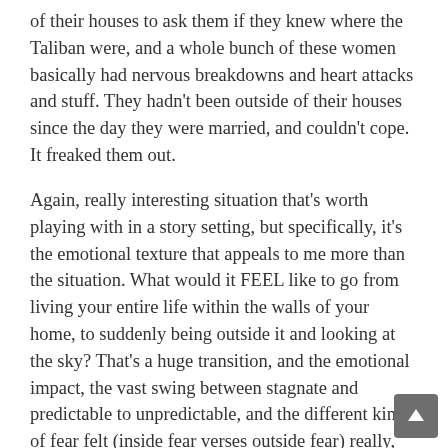of their houses to ask them if they knew where the Taliban were, and a whole bunch of these women basically had nervous breakdowns and heart attacks and stuff. They hadn't been outside of their houses since the day they were married, and couldn't cope. It freaked them out.
Again, really interesting situation that's worth playing with in a story setting, but specifically, it's the emotional texture that appeals to me more than the situation. What would it FEEL like to go from living your entire life within the walls of your home, to suddenly being outside it and looking at the sky? That's a huge transition, and the emotional impact, the vast swing between stagnate and predictable to unpredictable, and the different kinds of fear felt (inside fear verses outside fear) really, really appeal to me. I want to explore that.
Hav been asked a lot recently to write a bit about